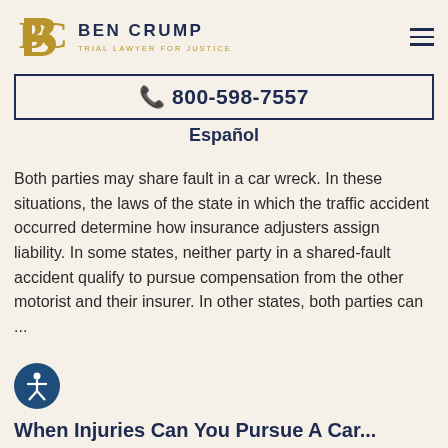BEN CRUMP TRIAL LAWYER FOR JUSTICE
📞 800-598-7557
Español
Both parties may share fault in a car wreck. In these situations, the laws of the state in which the traffic accident occurred determine how insurance adjusters assign liability. In some states, neither party in a shared-fault accident qualify to pursue compensation from the other motorist and their insurer. In other states, both parties can ...
[Figure (illustration): Accessibility icon - white person figure in a blue circle]
When Injuries Can You Pursue A Car...